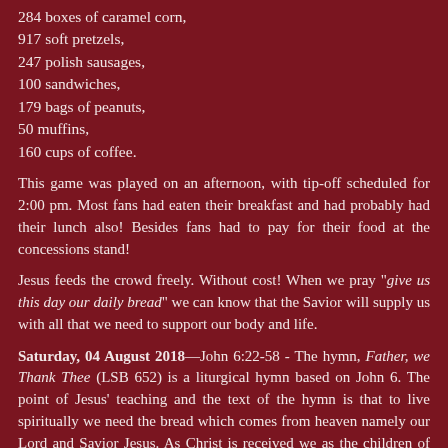284 boxes of caramel corn,
917 soft pretzels,
247 polish sausages,
100 sandwiches,
179 bags of peanuts,
50 muffins,
160 cups of coffee.
This game was played on an afternoon, with tip-off scheduled for 2:00 pm. Most fans had eaten their breakfast and had probably had their lunch also! Besides fans had to pay for their food at the concessions stand!
Jesus feeds the crowd freely. Without cost! When we pray "give us this day our daily bread" we can know that the Savior will supply us with all that we need to support our body and life.
Saturday, 04 August 2018—John 6:22-58 - The hymn, Father, we Thank Thee (LSB 652) is a liturgical hymn based on John 6. The point of Jesus' teaching and the text of the hymn is that to live spiritually we need the bread which comes from heaven namely our Lord and Savior Jesus. As Christ is received we as the children of God live new lives. Throughout the next several weeks we will be focusing on